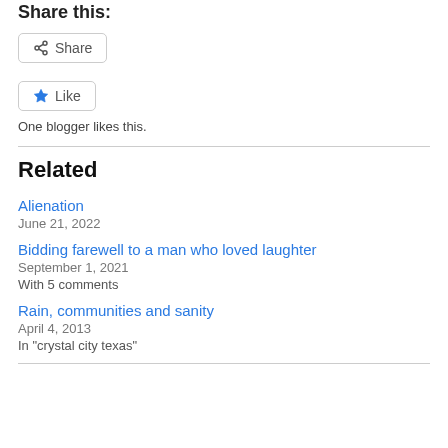Share this:
[Figure (other): Share button with share icon]
[Figure (other): Like button with blue star icon]
One blogger likes this.
Related
Alienation
June 21, 2022
Bidding farewell to a man who loved laughter
September 1, 2021
With 5 comments
Rain, communities and sanity
April 4, 2013
In "crystal city texas"